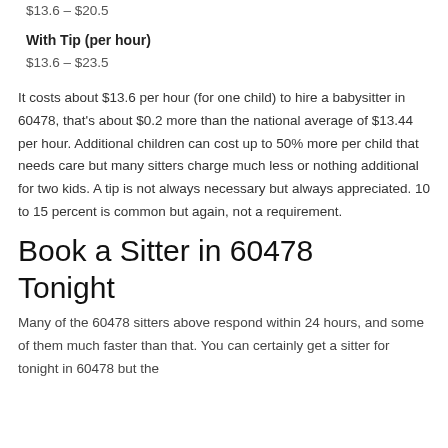$13.6 – $20.5
With Tip (per hour)
$13.6 – $23.5
It costs about $13.6 per hour (for one child) to hire a babysitter in 60478, that's about $0.2 more than the national average of $13.44 per hour. Additional children can cost up to 50% more per child that needs care but many sitters charge much less or nothing additional for two kids. A tip is not always necessary but always appreciated. 10 to 15 percent is common but again, not a requirement.
Book a Sitter in 60478 Tonight
Many of the 60478 sitters above respond within 24 hours, and some of them much faster than that. You can certainly get a sitter for tonight in 60478 but the